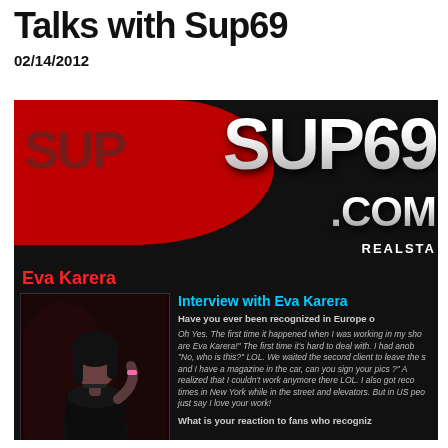Talks with Sup69
02/14/2012
[Figure (screenshot): Screenshot of SUP69.com website showing logo banner, Eva Karera name heading, a photo of Eva Karera in black dress, and partial interview text about being recognized in Europe.]